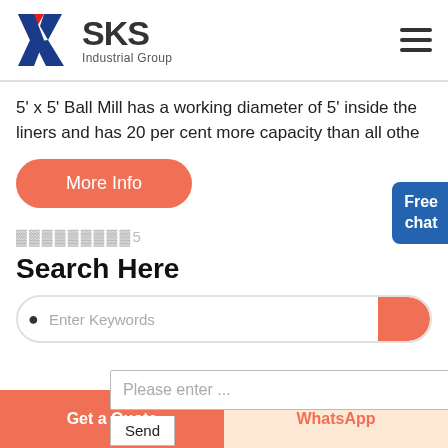[Figure (logo): SKS Industrial Group logo with red and blue K lettermark and bold SKS text]
5' x 5' Ball Mill has a working diameter of 5' inside the liners and has 20 per cent more capacity than all othe
More Info
Free chat
▓▓▓▓▓▓▓▓▓5
Search Here
• Enter Keywords
Please enter ...
Send
Get a Quote
WhatsApp